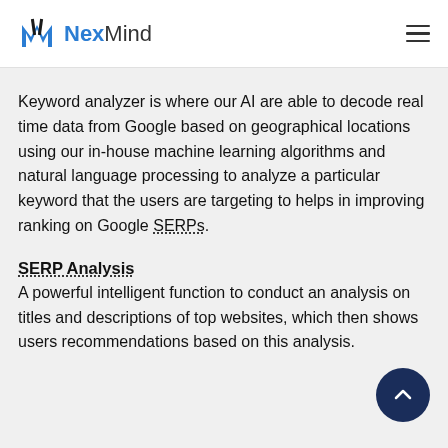NexMind
Keyword analyzer is where our AI are able to decode real time data from Google based on geographical locations using our in-house machine learning algorithms and natural language processing to analyze a particular keyword that the users are targeting to helps in improving ranking on Google SERPs.
SERP Analysis
A powerful intelligent function to conduct an analysis on titles and descriptions of top websites, which then shows users recommendations based on this analysis.